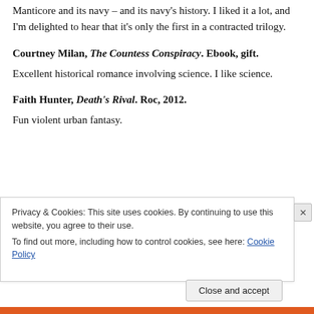Manticore and its navy – and its navy's history. I liked it a lot, and I'm delighted to hear that it's only the first in a contracted trilogy.
Courtney Milan, The Countess Conspiracy. Ebook, gift.
Excellent historical romance involving science. I like science.
Faith Hunter, Death's Rival. Roc, 2012.
Fun violent urban fantasy.
Privacy & Cookies: This site uses cookies. By continuing to use this website, you agree to their use.
To find out more, including how to control cookies, see here: Cookie Policy